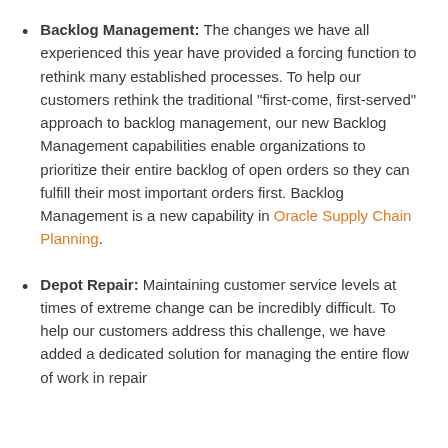Backlog Management: The changes we have all experienced this year have provided a forcing function to rethink many established processes. To help our customers rethink the traditional "first-come, first-served" approach to backlog management, our new Backlog Management capabilities enable organizations to prioritize their entire backlog of open orders so they can fulfill their most important orders first. Backlog Management is a new capability in Oracle Supply Chain Planning.
Depot Repair: Maintaining customer service levels at times of extreme change can be incredibly difficult. To help our customers address this challenge, we have added a dedicated solution for managing the entire flow of work in repair